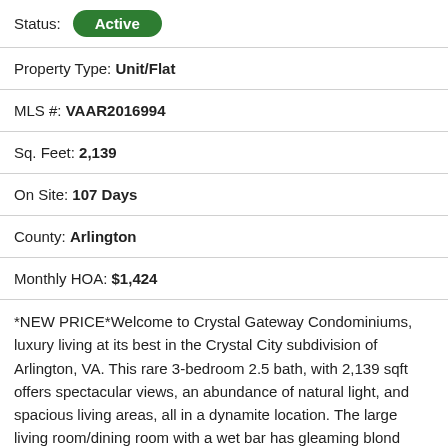Status: Active
Property Type: Unit/Flat
MLS #: VAAR2016994
Sq. Feet: 2,139
On Site: 107 Days
County: Arlington
Monthly HOA: $1,424
*NEW PRICE*Welcome to Crystal Gateway Condominiums, luxury living at its best in the Crystal City subdivision of Arlington, VA. This rare 3-bedroom 2.5 bath, with 2,139 sqft offers spectacular views, an abundance of natural light, and spacious living areas, all in a dynamite location. The large living room/dining room with a wet bar has gleaming blond